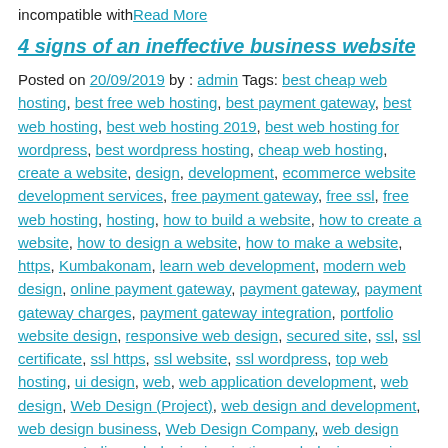incompatible with Read More
4 signs of an ineffective business website
Posted on 20/09/2019 by : admin Tags: best cheap web hosting, best free web hosting, best payment gateway, best web hosting, best web hosting 2019, best web hosting for wordpress, best wordpress hosting, cheap web hosting, create a website, design, development, ecommerce website development services, free payment gateway, free ssl, free web hosting, hosting, how to build a website, how to create a website, how to design a website, how to make a website, https, Kumbakonam, learn web development, modern web design, online payment gateway, payment gateway, payment gateway charges, payment gateway integration, portfolio website design, responsive web design, secured site, ssl, ssl certificate, ssl https, ssl website, ssl wordpress, top web hosting, ui design, web, web application development, web design, Web Design (Project), web design and development, web design business, Web Design Company, web design company India, web design inspiration, web design services, web design trends, web design tutorial, web design tutorial for beginners, web designer, web developer, web developers, web development, web development (project), web development 2019, web development career, web development course, web development guide, web development services, web development tutorial, web host, web